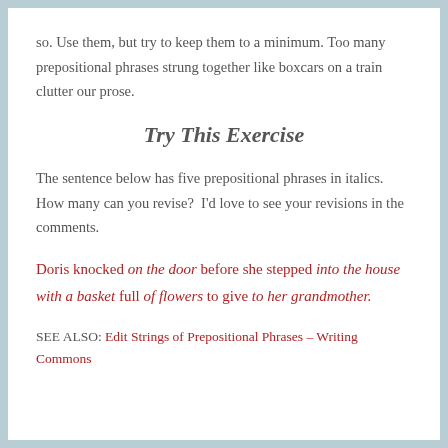so. Use them, but try to keep them to a minimum. Too many prepositional phrases strung together like boxcars on a train clutter our prose.
Try This Exercise
The sentence below has five prepositional phrases in italics. How many can you revise?  I'd love to see your revisions in the comments.
Doris knocked on the door before she stepped into the house with a basket full of flowers to give to her grandmother.
SEE ALSO: Edit Strings of Prepositional Phrases – Writing Commons